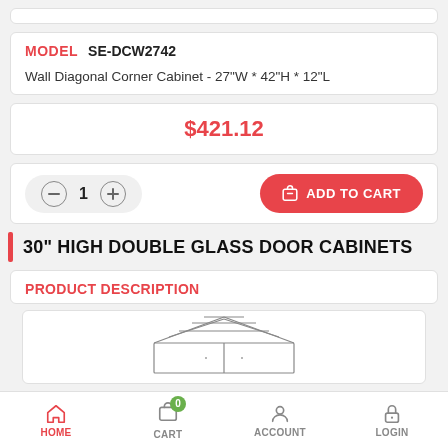MODEL  SE-DCW2742
Wall Diagonal Corner Cabinet - 27"W * 42"H * 12"L
$421.12
1  ADD TO CART
30" HIGH DOUBLE GLASS DOOR CABINETS
PRODUCT DESCRIPTION
[Figure (engineering-diagram): Partial engineering diagram of a cabinet]
HOME  CART  ACCOUNT  LOGIN